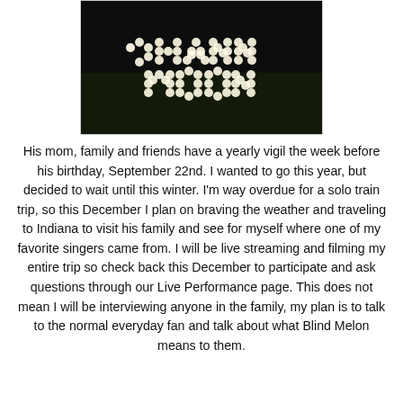[Figure (photo): Dark background photo with 'SHANNON MOON' spelled out in lights (small round bulbs) on what appears to be grass or ground]
His mom, family and friends have a yearly vigil the week before his birthday, September 22nd. I wanted to go this year, but decided to wait until this winter. I'm way overdue for a solo train trip, so this December I plan on braving the weather and traveling to Indiana to visit his family and see for myself where one of my favorite singers came from. I will be live streaming and filming my entire trip so check back this December to participate and ask questions through our Live Performance page. This does not mean I will be interviewing anyone in the family, my plan is to talk to the normal everyday fan and talk about what Blind Melon means to them.